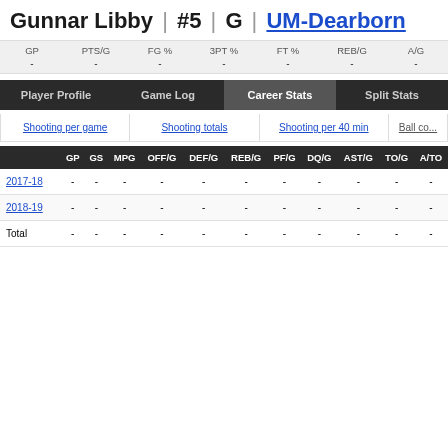Gunnar Libby | #5 | G | UM-Dearborn
| GP | PTS/G | FG % | 3PT % | FT % | REB/G | A/G |
| --- | --- | --- | --- | --- | --- | --- |
| - | - | - | - | - | - | - |
Player Profile | Game Log | Career Stats | Split Stats
Shooting per game | Shooting totals | Shooting per 40 min | Ball co...
| GP | GS | MPG | OFF/G | DEF/G | REB/G | PF/G | DQ/G | AST/G | TO/G | A/TO |
| --- | --- | --- | --- | --- | --- | --- | --- | --- | --- | --- |
| 2017-18 | - | - | - | - | - | - | - | - | - | - | - |
| 2018-19 | - | - | - | - | - | - | - | - | - | - | - |
| Total | - | - | - | - | - | - | - | - | - | - | - |